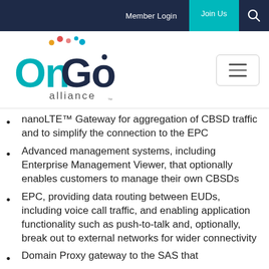Member Login  Join Us
[Figure (logo): OnGo Alliance logo with teal 'On' text, dark 'Go' text, colored dots above, and 'alliance' below]
nanoLTE™ Gateway for aggregation of CBSD traffic and to simplify the connection to the EPC
Advanced management systems, including Enterprise Management Viewer, that optionally enables customers to manage their own CBSDs
EPC, providing data routing between EUDs, including voice call traffic, and enabling application functionality such as push-to-talk and, optionally, break out to external networks for wider connectivity
Domain Proxy gateway to the SAS that